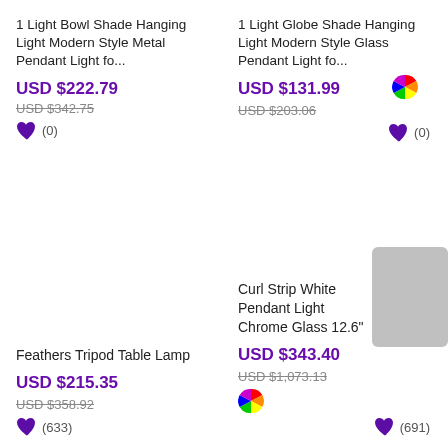1 Light Bowl Shade Hanging Light Modern Style Metal Pendant Light fo...
USD $222.79
USD $342.75
1 Light Globe Shade Hanging Light Modern Style Glass Pendant Light fo...
USD $131.99
USD $203.06
Feathers Tripod Table Lamp
USD $215.35
USD $358.92
Curl Strip White Pendant Light Chrome Glass 12.6"
USD $343.40
USD $1,073.13